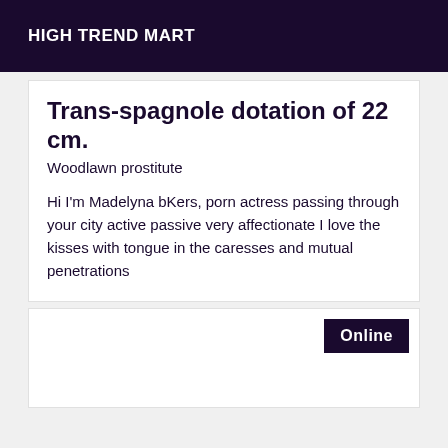HIGH TREND MART
Trans-spagnole dotation of 22 cm.
Woodlawn prostitute
Hi I'm Madelyna bKers, porn actress passing through your city active passive very affectionate I love the kisses with tongue in the caresses and mutual penetrations
Online